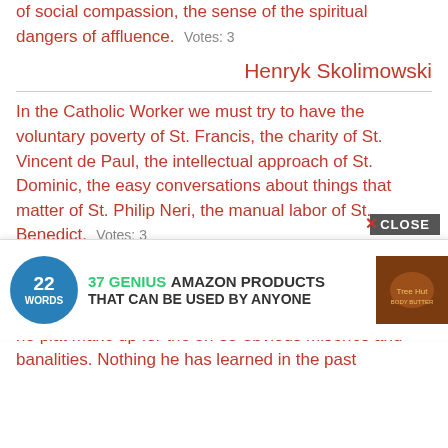of social compassion, the sense of the spiritual dangers of affluence.  Votes: 3
Henryk Skolimowski
In the Catholic Worker we must try to have the voluntary poverty of St. Francis, the charity of St. Vincent de Paul, the intellectual approach of St. Dominic, the easy conversations about things that matter of St. Philip Neri, the manual labor of St. Benedict.  Votes: 3
Peter Maurin
Francis Crozier believes in nothing. Life is solitary ... has no pla... ...t make up for the oh-so-obvious miseries and banalities. Nothing he has learned in the past